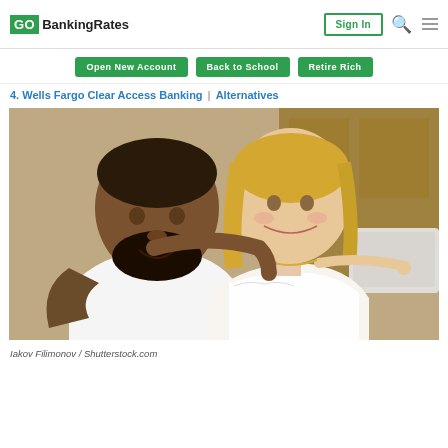GO BankingRates | Sign In
Open New Account | Back to School | Retire Rich
4. Wells Fargo Clear Access Banking | Alternatives
[Figure (photo): A couple — a bearded man and a blonde woman — looking at a laptop screen together, smiling, in a home setting with wooden furniture in the background.]
Iakov Filimonov / Shutterstock.com